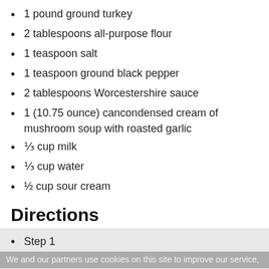1 pound ground turkey
2 tablespoons all-purpose flour
1 teaspoon salt
1 teaspoon ground black pepper
2 tablespoons Worcestershire sauce
1 (10.75 ounce) cancondensed cream of mushroom soup with roasted garlic
⅓ cup milk
⅓ cup water
½ cup sour cream
Directions
Step 1
Fill a large pot with lightly salted water and bring to a rapid boil. Cook egg noodles at a boil until tender yet firm to the bite, 7 to 9 minutes. Drain and keep warm.